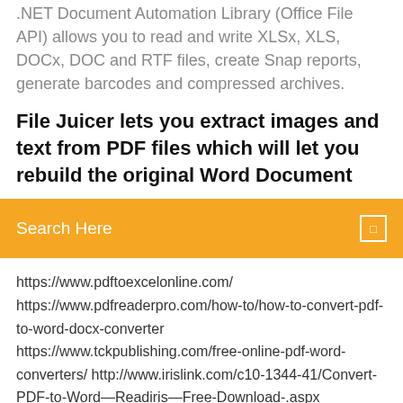.NET Document Automation Library (Office File API) allows you to read and write XLSx, XLS, DOCx, DOC and RTF files, create Snap reports, generate barcodes and compressed archives.
File Juicer lets you extract images and text from PDF files which will let you rebuild the original Word Document
Search Here
https://www.pdftoexcelonline.com/ https://www.pdfreaderpro.com/how-to/how-to-convert-pdf-to-word-docx-converter https://www.tckpublishing.com/free-online-pdf-word-converters/ http://www.irislink.com/c10-1344-41/Convert-PDF-to-Word—Readiris—Free-Download-.aspx
Logiciel mise en page cv mac gratuit
Which harry potter character are you when drunk
Telecharger windows 7 64 bits pour cle usb
Télécharger messenger sur android